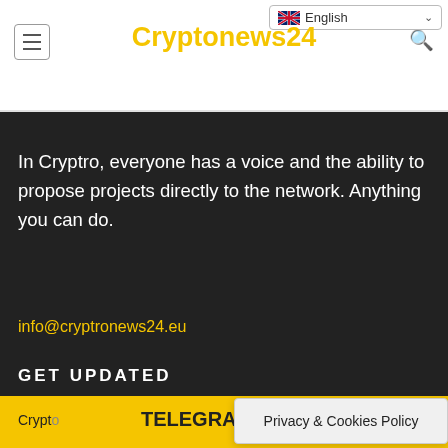Cryptonews24
In Cryptro, everyone has a voice and the ability to propose projects directly to the network. Anything you can do.
info@cryptronews24.eu
GET UPDATED
Subscribe our
TELEGRAM
Cryptonews24
Privacy & Cookies Policy